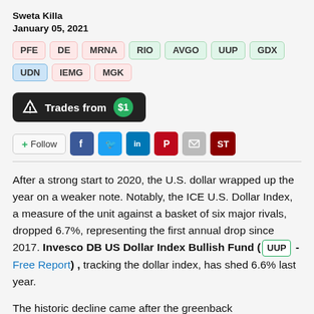Sweta Killa
January 05, 2021
PFE   DE   MRNA   RIO   AVGO   UUP   GDX   UDN   IEMG   MGK
[Figure (infographic): Trades from $1 button with share icon]
[Figure (infographic): Social sharing buttons: Follow, Facebook, Twitter, LinkedIn, Pinterest, Email, ST]
After a strong start to 2020, the U.S. dollar wrapped up the year on a weaker note. Notably, the ICE U.S. Dollar Index, a measure of the unit against a basket of six major rivals, dropped 6.7%, representing the first annual drop since 2017. Invesco DB US Dollar Index Bullish Fund ( UUP - Free Report) , tracking the dollar index, has shed 6.6% last year.
The historic decline came after the greenback